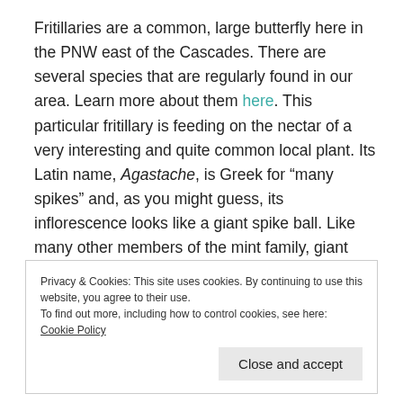Fritillaries are a common, large butterfly here in the PNW east of the Cascades. There are several species that are regularly found in our area. Learn more about them here. This particular fritillary is feeding on the nectar of a very interesting and quite common local plant. Its Latin name, Agastache, is Greek for “many spikes” and, as you might guess, its inflorescence looks like a giant spike ball. Like many other members of the mint family, giant hyssop is commonly used in herbal teas and poultices for a variety of medicinal purposes. In particular, the leaves can be used to induce sweating and
Privacy & Cookies: This site uses cookies. By continuing to use this website, you agree to their use.
To find out more, including how to control cookies, see here: Cookie Policy
Close and accept